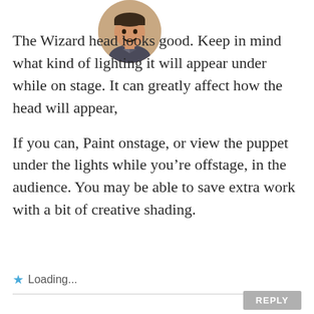[Figure (photo): Circular avatar photo of a person smiling, positioned at top center of the comment.]
The Wizard head looks good. Keep in mind what kind of lighting it will appear under while on stage. It can greatly affect how the head will appear,
If you can, Paint onstage, or view the puppet under the lights while you’re offstage, in the audience. You may be able to save extra work with a bit of creative shading.
★ Loading...
REPLY